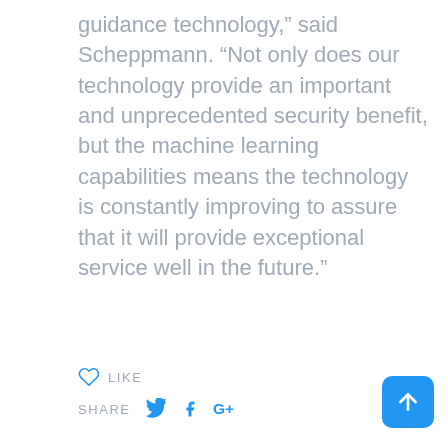guidance technology,” said Scheppmann. “Not only does our technology provide an important and unprecedented security benefit, but the machine learning capabilities means the technology is constantly improving to assure that it will provide exceptional service well in the future.”
[Figure (infographic): Like button (heart icon) with label LIKE, and Share row with Twitter, Facebook, and Google+ icons. Blue scroll-to-top arrow button in bottom right.]